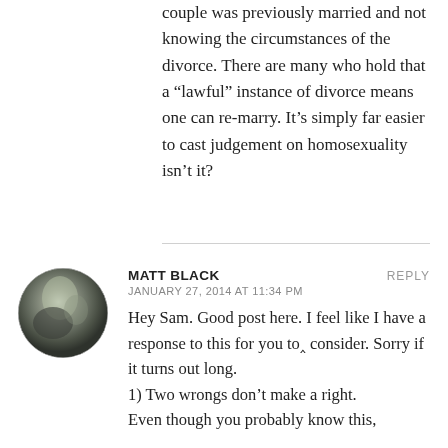couple was previously married and not knowing the circumstances of the divorce. There are many who hold that a “lawful” instance of divorce means one can re-marry. It’s simply far easier to cast judgement on homosexuality isn’t it?
MATT BLACK
JANUARY 27, 2014 AT 11:34 PM
[Figure (photo): Circular avatar photo of a person or plant with blurred background, showing dark and light tones]
Hey Sam. Good post here. I feel like I have a response to this for you to consider. Sorry if it turns out long. 1) Two wrongs don’t make a right. Even though you probably know this,